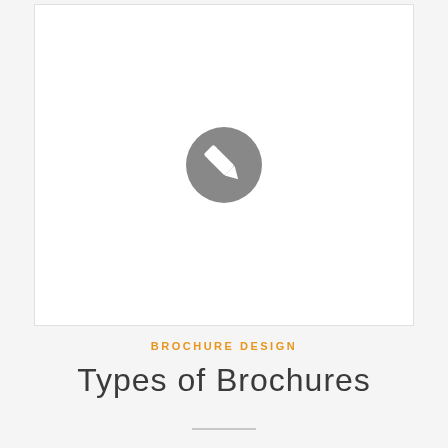[Figure (illustration): White rectangular image placeholder with a gray circular pencil/edit icon in the center]
BROCHURE DESIGN
Types of Brochures